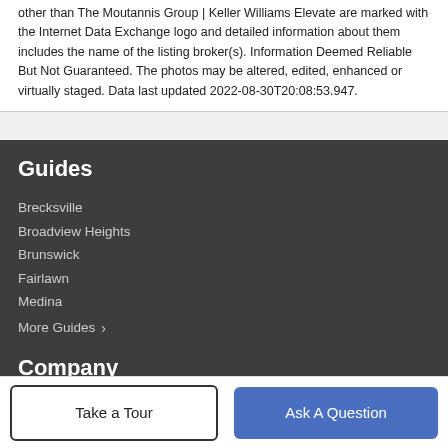other than The Moutannis Group | Keller Williams Elevate are marked with the Internet Data Exchange logo and detailed information about them includes the name of the listing broker(s). Information Deemed Reliable But Not Guaranteed. The photos may be altered, edited, enhanced or virtually staged. Data last updated 2022-08-30T20:08:53.947.
Guides
Brecksville
Broadview Heights
Brunswick
Fairlawn
Medina
More Guides ›
Company